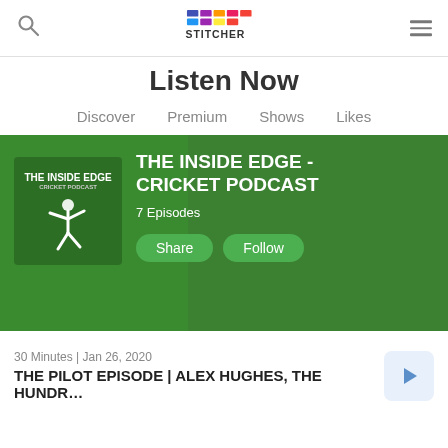Stitcher — Listen Now
Listen Now
Discover  Premium  Shows  Likes
[Figure (screenshot): The Inside Edge - Cricket Podcast banner on Stitcher app. Green background with podcast artwork showing a cricket bowler, title 'THE INSIDE EDGE - CRICKET PODCAST', '7 Episodes', and Share/Follow buttons.]
30 Minutes | Jan 26, 2020
THE PILOT EPISODE | ALEX HUGHES, THE HUNDR...